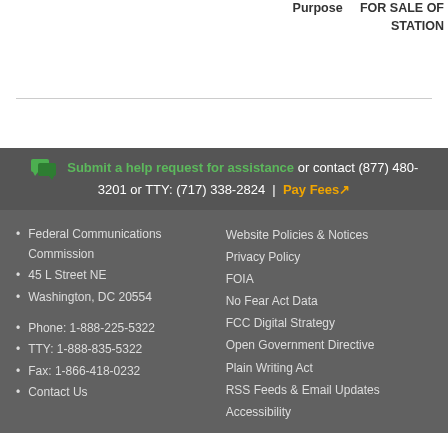Purpose    FOR SALE OF STATION
Submit a help request for assistance or contact (877) 480-3201 or TTY: (717) 338-2824  |  Pay Fees
Federal Communications Commission
45 L Street NE
Washington, DC 20554
Phone: 1-888-225-5322
TTY: 1-888-835-5322
Fax: 1-866-418-0232
Contact Us
Website Policies & Notices
Privacy Policy
FOIA
No Fear Act Data
FCC Digital Strategy
Open Government Directive
Plain Writing Act
RSS Feeds & Email Updates
Accessibility